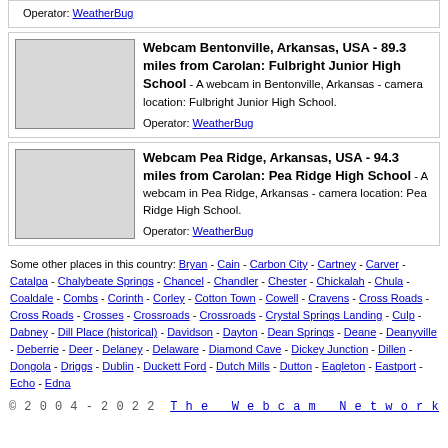Operator: WeatherBug
Webcam Bentonville, Arkansas, USA - 89.3 miles from Carolan: Fulbright Junior High School - A webcam in Bentonville, Arkansas - camera location: Fulbright Junior High School. Operator: WeatherBug
[Figure (photo): Thumbnail placeholder image for Bentonville webcam]
Webcam Pea Ridge, Arkansas, USA - 94.3 miles from Carolan: Pea Ridge High School - A webcam in Pea Ridge, Arkansas - camera location: Pea Ridge High School. Operator: WeatherBug
[Figure (photo): Thumbnail placeholder image for Pea Ridge webcam]
Some other places in this country: Bryan - Cain - Carbon City - Cartney - Carver - Catalpa - Chalybeate Springs - Chancel - Chandler - Chester - Chickalah - Chula - Coaldale - Combs - Corinth - Corley - Cotton Town - Cowell - Cravens - Cross Roads - Cross Roads - Crosses - Crossroads - Crossroads - Crystal Springs Landing - Culp - Dabney - Dill Place (historical) - Davidson - Dayton - Dean Springs - Deane - Deanyville - Deberrie - Deer - Delaney - Delaware - Diamond Cave - Dickey Junction - Dillen - Dongola - Driggs - Dublin - Duckett Ford - Dutch Mills - Dutton - Eagleton - Eastport - Echo - Edna
© 2004 - 2022 The Webcam Network